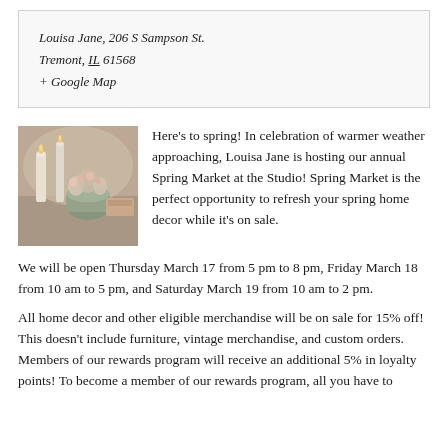Louisa Jane, 206 S Sampson St. Tremont, IL 61568 + Google Map
[Figure (photo): Spring floral and candle arrangement photo, showing candles, flowers in soft pastel tones on a table]
Here's to spring! In celebration of warmer weather approaching, Louisa Jane is hosting our annual Spring Market at the Studio! Spring Market is the perfect opportunity to refresh your spring home decor while it's on sale.
We will be open Thursday March 17 from 5 pm to 8 pm, Friday March 18 from 10 am to 5 pm, and Saturday March 19 from 10 am to 2 pm.
All home decor and other eligible merchandise will be on sale for 15% off! This doesn't include furniture, vintage merchandise, and custom orders. Members of our rewards program will receive an additional 5% in loyalty points! To become a member of our rewards program, all you have to